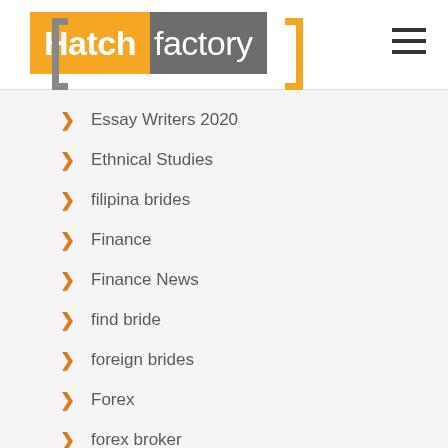[Figure (logo): Hatchfactory logo with yellow and gray background panels and bracket decorations]
Essay Writers 2020
Ethnical Studies
filipina brides
Finance
Finance News
find bride
foreign brides
Forex
forex broker
Forex Handel